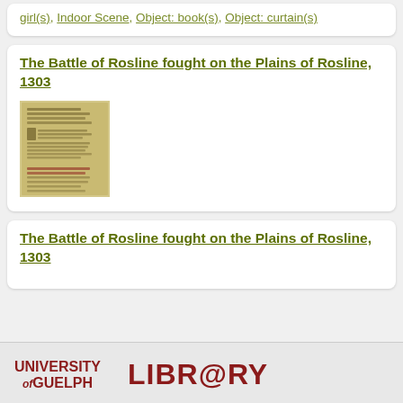girl(s), Indoor Scene, Object: book(s), Object: curtain(s)
The Battle of Rosline fought on the Plains of Rosline, 1303
[Figure (photo): Thumbnail image of an aged manuscript or printed page with old-style text, yellowed paper with handwritten or early printed text.]
The Battle of Rosline fought on the Plains of Rosline, 1303
UNIVERSITY of GUELPH   LIBR@RY